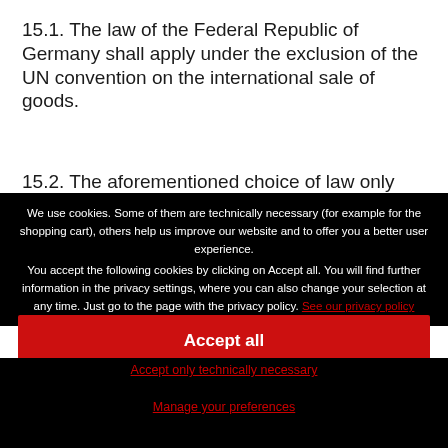15.1. The law of the Federal Republic of Germany shall apply under the exclusion of the UN convention on the international sale of goods.
15.2. The aforementioned choice of law only applies to consumers who do not conclude the contract for professional or commercial
We use cookies. Some of them are technically necessary (for example for the shopping cart), others help us improve our website and to offer you a better user experience. You accept the following cookies by clicking on Accept all. You will find further information in the privacy settings, where you can also change your selection at any time. Just go to the page with the privacy policy. See our privacy policy
Accept all
Accept only technically necessary
Manage your preferences